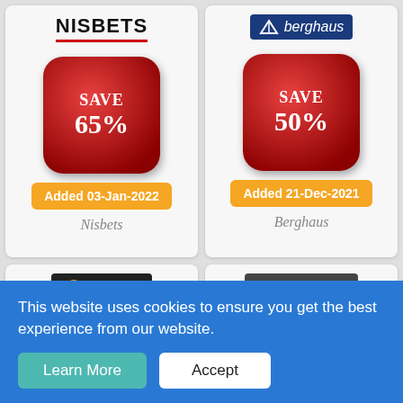[Figure (logo): Nisbets logo with red underline]
[Figure (illustration): Red rounded square button with SAVE 65% text]
Added 03-Jan-2022
Nisbets
[Figure (logo): Berghaus logo on dark blue background]
[Figure (illustration): Red rounded square button with SAVE 50% text]
Added 21-Dec-2021
Berghaus
[Figure (logo): Blacks logo on black background with orange arrow icon]
[Figure (logo): Route One 1989 logo on dark grey background]
This website uses cookies to ensure you get the best experience from our website.
Learn More
Accept